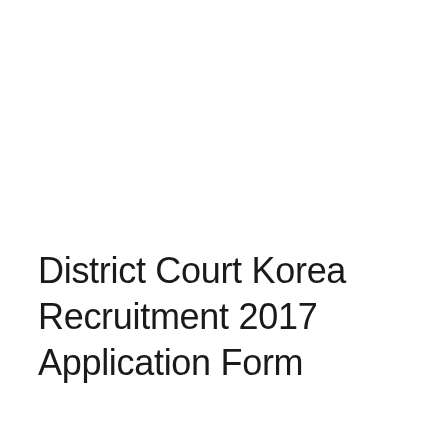District Court Korea Recruitment 2017 Application Form